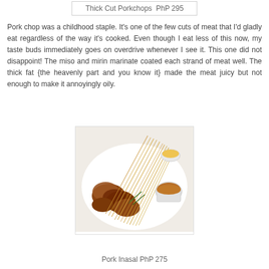Thick Cut Porkchops  PhP 295
Pork chop was a childhood staple. It's one of the few cuts of meat that I'd gladly eat regardless of the way it's cooked. Even though I eat less of this now, my taste buds immediately goes on overdrive whenever I see it. This one did not disappoint! The miso and mirin marinate coated each strand of meat well. The thick fat {the heavenly part and you know it} made the meat juicy but not enough to make it annoyingly oily.
[Figure (photo): Plated dish of Pork Inasal on a white plate with crispy thin sticks garnish, green onions, a small bowl of sauce, and a small bowl of corn on the side.]
Pork Inasal  PhP 275